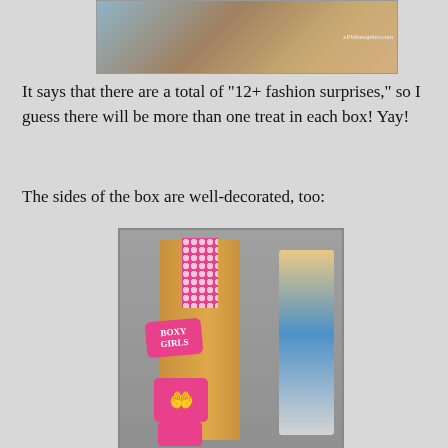[Figure (photo): Top portion of a photo showing a Boxy Girls doll box with cardboard packaging, blonde hair visible, and a yellow circular sticker. Watermark text 'xPhilosopher.com' visible.]
It says that there are a total of "12+ fashion surprises," so I guess there will be more than one treat in each box!  Yay!
The sides of the box are well-decorated, too:
[Figure (photo): Photo of the side of a Boxy Girls doll box showing cardboard packaging decorated with a pink polka-dot tape at top, a pink Boxy Girls logo sticker, a pink charity/hands sticker, another pink sticker at bottom, and a doll visible through a clear window on the right side.]